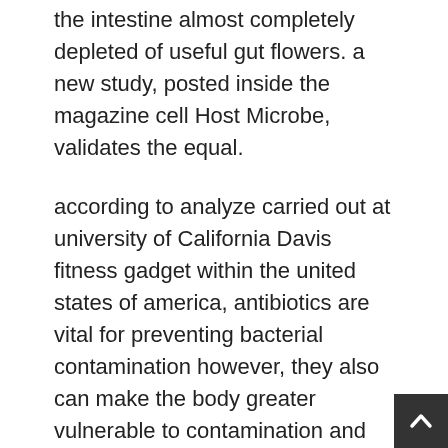the intestine almost completely depleted of useful gut flowers. a new study, posted inside the magazine cell Host Microbe, validates the equal.
according to analyze carried out at university of California Davis fitness gadget within the united states of america, antibiotics are vital for preventing bacterial contamination however, they also can make the body greater vulnerable to contamination and diarrhea through permitting gut pathogens to 'breathe'. Antibiotics gain pathogen increase through disrupting oxygen tiers and fibre processing in the gut, the study stated.
The manner how the “correct” microbes inside the gut protect towards pathogens, together with Salmonella, and the way antibiotic treatments foster the growth of ailment-inflicting microbes were poorly understood. but this new research has diagnosed a chain of activities that occur within the intestine lumen after antibiotic remedy that allow “awful” bugs to